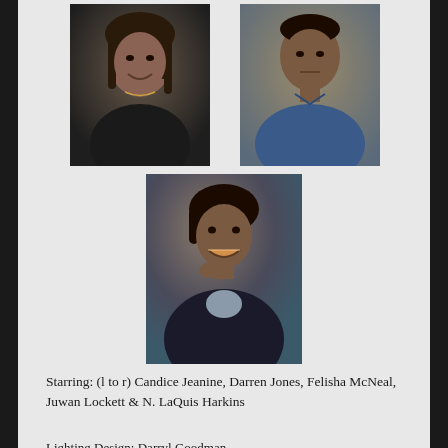[Figure (photo): Headshot of Candice Jeanine, a woman with braided hair, smiling, wearing a black top and necklace against a dark background]
[Figure (photo): Headshot of Darren Jones, a man in a blue polo shirt against a warm brown background]
[Figure (photo): Headshot of a woman (Felisha McNeal or another cast member) smiling, wearing a dark blazer, with chin resting on hand]
Starring: (l to r) Candice Jeanine, Darren Jones, Felisha McNeal, Juwan Lockett & N. LaQuis Harkins
Lighting Design: Darryl Goodman
   Scenic Design: Tianyu Qui
Costume Design:  Andrea Brown
    Sound Design:   Mahmoud Khan
Casting Director:  Tamara Sibley
   Tech Crew:  Flora Montes & Abigail Coleman